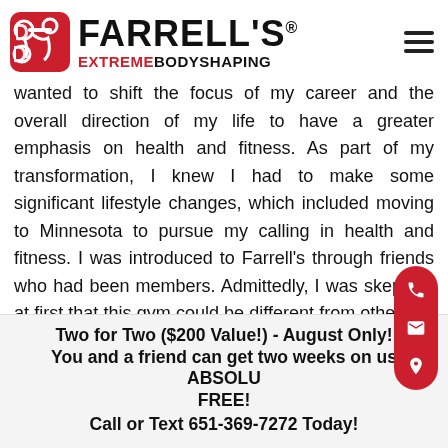[Figure (logo): Farrell's Extreme Bodyshaping logo with red dumbbell/figure icon and bold text]
wanted to shift the focus of my career and the overall direction of my life to have a greater emphasis on health and fitness. As part of my transformation, I knew I had to make some significant lifestyle changes, which included moving to Minnesota to pursue my calling in health and fitness. I was introduced to Farrell's through friends who had been members. Admittedly, I was skeptical at first that this gym could be different from others I'd experienced. What made this gym so special? I was
Two for Two ($200 Value!) - August Only!
You and a friend can get two weeks on us ABSOLUTELY FREE!
Call or Text 651-369-7272 Today!